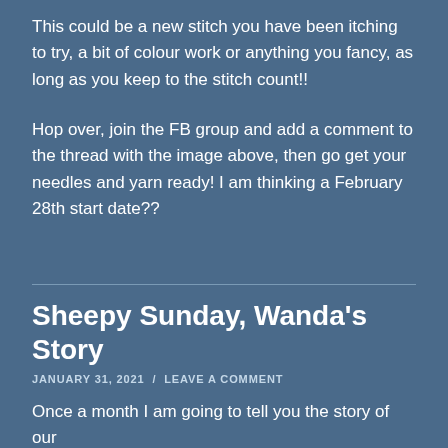This could be a new stitch you have been itching to try, a bit of colour work or anything you fancy, as long as you keep to the stitch count!!
Hop over, join the FB group and add a comment to the thread with the image above, then go get your needles and yarn ready! I am thinking a February 28th start date??
Sheepy Sunday, Wanda’s Story
JANUARY 31, 2021 / LEAVE A COMMENT
Once a month I am going to tell you the story of our